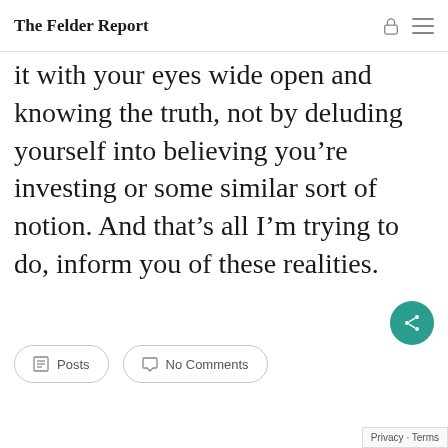The Felder Report
it with your eyes wide open and knowing the truth, not by deluding yourself into believing you’re investing or some similar sort of notion. And that’s all I’m trying to do, inform you of these realities.
Posts  No Comments